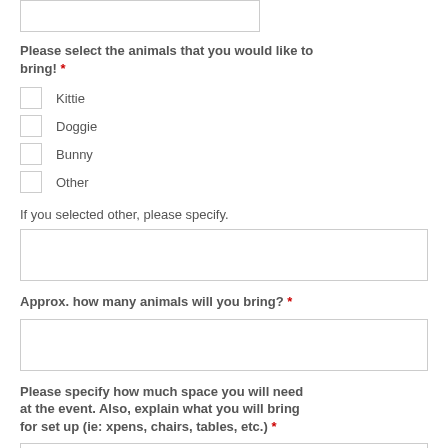[input box - partial top of page]
Please select the animals that you would like to bring! *
Kittie
Doggie
Bunny
Other
If you selected other, please specify.
[text input box]
Approx. how many animals will you bring? *
[text input box]
Please specify how much space you will need at the event. Also, explain what you will bring for set up (ie: xpens, chairs, tables, etc.) *
[text input box - partial bottom of page]